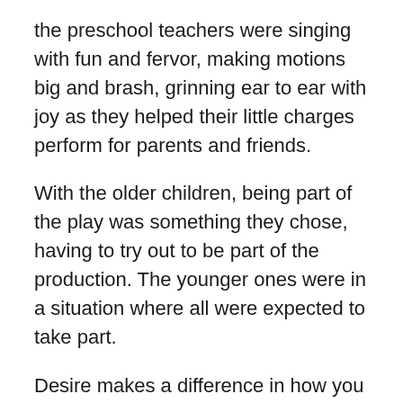the preschool teachers were singing with fun and fervor, making motions big and brash, grinning ear to ear with joy as they helped their little charges perform for parents and friends.
With the older children, being part of the play was something they chose, having to try out to be part of the production. The younger ones were in a situation where all were expected to take part.
Desire makes a difference in how you show up.
The things we enjoy and are good at are often the things we choose to do frequently. The things that make us hesitant, cause fear, or make us feel uncomfortable we try to avoid.